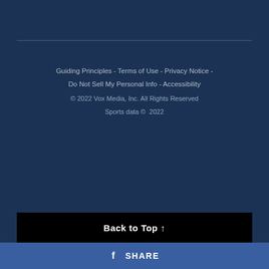Guiding Principles - Terms of Use - Privacy Notice - Do Not Sell My Personal Info - Accessibility
© 2022 Vox Media, Inc. All Rights Reserved
Sports data ©  2022
Back to Top ↑
f SHARE